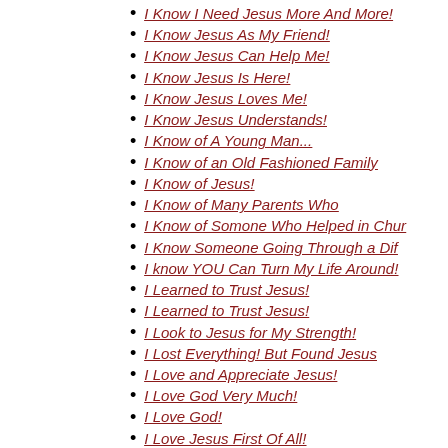I Know
I Know I Need Jesus More And More!
I Know Jesus As My Friend!
I Know Jesus Can Help Me!
I Know Jesus Is Here!
I Know Jesus Loves Me!
I Know Jesus Understands!
I Know of A Young Man...
I Know of an Old Fashioned Family
I Know of Jesus!
I Know of Many Parents Who
I Know of Somone Who Helped in Chur
I Know Someone Going Through a Dif
I know YOU Can Turn My Life Around!
I Learned to Trust Jesus!
I Learned to Trust Jesus!
I Look to Jesus for My Strength!
I Lost Everything! But Found Jesus
I Love and Appreciate Jesus!
I Love God Very Much!
I Love God!
I Love Jesus First Of All!
I Love Jesus More Than Anything!
I Love Jesus So Much!
I Love Jesus So Much!
I Love Jesus!
I Love Jesus!
I Love Jesus! He Loves Me!
I Love Jesus, Yes I Do!
I Love You Brother!
I Love You God!